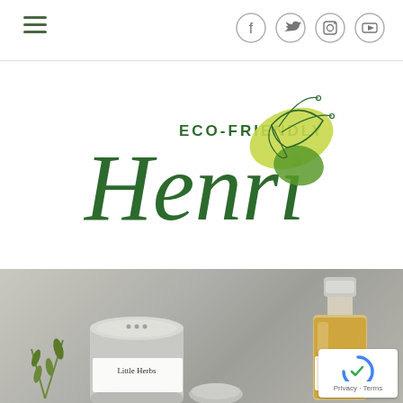Navigation header with hamburger menu and social media icons (Facebook, Twitter, Instagram, YouTube)
[Figure (logo): Eco-Friendly Henri logo: large cursive green 'Henri' text with 'ECO-FRIENDLY' in smaller capitals above, accompanied by a stylized butterfly illustration in yellow-green with green outlines]
[Figure (photo): Product photo showing Little Herbs branded items on a stone/concrete surface: a round silver tin canister and a small glass bottle with silver cap containing amber liquid, with rosemary sprigs, both labeled 'Little Herbs']